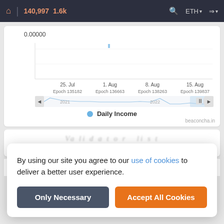🏠 | 140,997  1.6k   🔍  ETH▾  →▾
[Figure (continuous-plot): Line chart showing Daily Income over time from 2021 to Aug 2022. Y-axis starts at 0.00000. X-axis shows dates: 25. Jul (Epoch 135182), 1. Aug (Epoch 136663), 8. Aug (Epoch 138263), 15. Aug (Epoch 139837). The line shows a spike in 2021 tapering off, near zero in mid 2022 with a spike near 15. Aug. A mini range-selector bar at bottom shows 2021 and 2022 markers with a highlighted recent region.]
● Daily Income
beaconcha.in
Va li d a t o r li s t
Ep
By using our site you agree to our use of cookies to deliver a better user experience.
Only Necessary
Accept All Cookies